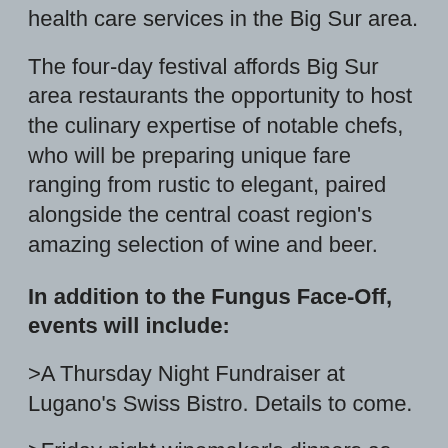health care services in the Big Sur area.
The four-day festival affords Big Sur area restaurants the opportunity to host the culinary expertise of notable chefs, who will be preparing unique fare ranging from rustic to elegant, paired alongside the central coast region's amazing selection of wine and beer.
In addition to the Fungus Face-Off, events will include:
>A Thursday Night Fundraiser at Lugano's Swiss Bistro. Details to come.
>Friday night winemaker's dinners as locations around Monterey County include Il Grillo in Carmel-by-the-Sea
>Saturday Foraging walk led by local experts. "Wild Mushroom Walks and Talk" led by Steve Copeland of Big Sur Guides and his team of expert mushroom foragers.
>Sunday we are finalizing several brunch fundraisers around Monterey County.